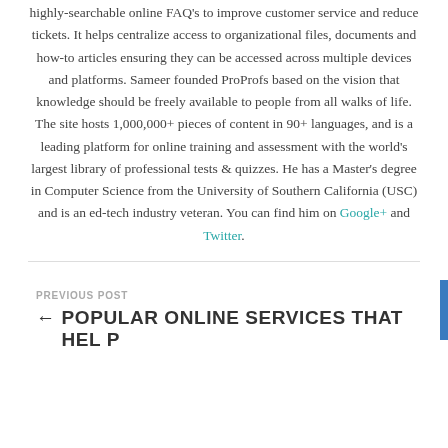highly-searchable online FAQ's to improve customer service and reduce tickets. It helps centralize access to organizational files, documents and how-to articles ensuring they can be accessed across multiple devices and platforms. Sameer founded ProProfs based on the vision that knowledge should be freely available to people from all walks of life. The site hosts 1,000,000+ pieces of content in 90+ languages, and is a leading platform for online training and assessment with the world's largest library of professional tests & quizzes. He has a Master's degree in Computer Science from the University of Southern California (USC) and is an ed-tech industry veteran. You can find him on Google+ and Twitter.
PREVIOUS POST
← POPULAR ONLINE SERVICES THAT HELP